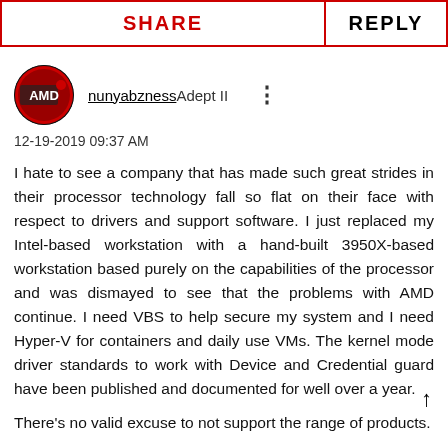SHARE | REPLY
[Figure (photo): AMD circular avatar/logo with red and black design]
nunyabzness Adept II
12-19-2019 09:37 AM
I hate to see a company that has made such great strides in their processor technology fall so flat on their face with respect to drivers and support software. I just replaced my Intel-based workstation with a hand-built 3950X-based workstation based purely on the capabilities of the processor and was dismayed to see that the problems with AMD continue. I need VBS to help secure my system and I need Hyper-V for containers and daily use VMs. The kernel mode driver standards to work with Device and Credential guard have been published and documented for well over a year.
There's no valid excuse to not support the range of products.